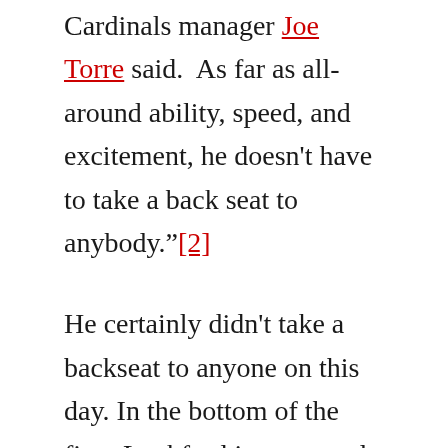Cardinals manager Joe Torre said.  As far as all-around ability, speed, and excitement, he doesn't have to take a back seat to anybody."[2]
He certainly didn't take a backseat to anyone on this day. In the bottom of the first, Lankford jumpstarted the Cardinals' offense with a double down the left-field line. After stealing third base, he scored on another double off the bat of third baseman Todd Zeile. One inning later, Rex Hudler gave the Cardinals a 2-0 lead with his first and only home run of the season. It was